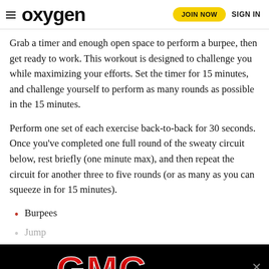oxygen  JOIN NOW  SIGN IN
Grab a timer and enough open space to perform a burpee, then get ready to work. This workout is designed to challenge you while maximizing your efforts. Set the timer for 15 minutes, and challenge yourself to perform as many rounds as possible in the 15 minutes.
Perform one set of each exercise back-to-back for 30 seconds. Once you’ve completed one full round of the sweaty circuit below, rest briefly (one minute max), and then repeat the circuit for another three to five rounds (or as many as you can squeeze in for 15 minutes).
Burpees
Jump…
Push…
[Figure (logo): GMC advertisement banner with red GMC logo on black background]